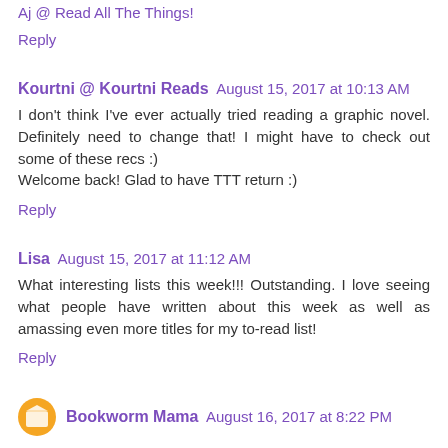Aj @ Read All The Things!
Reply
Kourtni @ Kourtni Reads  August 15, 2017 at 10:13 AM
I don't think I've ever actually tried reading a graphic novel. Definitely need to change that! I might have to check out some of these recs :)
Welcome back! Glad to have TTT return :)
Reply
Lisa  August 15, 2017 at 11:12 AM
What interesting lists this week!!! Outstanding. I love seeing what people have written about this week as well as amassing even more titles for my to-read list!
Reply
Bookworm Mama  August 16, 2017 at 8:22 PM